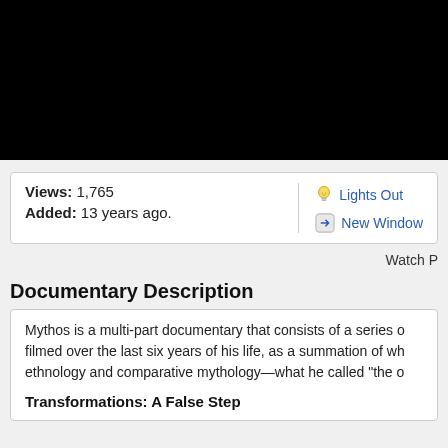[Figure (screenshot): Black video player area at the top of the page]
Views: 1,765
Added: 13 years ago.
Lights Out
New Window
Watch P
Documentary Description
Mythos is a multi-part documentary that consists of a series o filmed over the last six years of his life, as a summation of wh ethnology and comparative mythology—what he called "the o
Transformations: A False Step